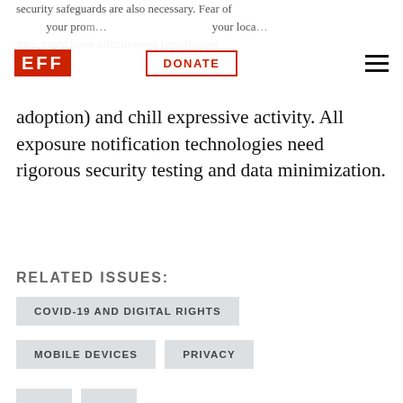EFF | DONATE
security safeguards are also necessary. Fear of your pro… your loca… data, could harm effectiveness (insufficient adoption) and chill expressive activity. All exposure notification technologies need rigorous security testing and data minimization.
RELATED ISSUES:
COVID-19 AND DIGITAL RIGHTS
MOBILE DEVICES
PRIVACY